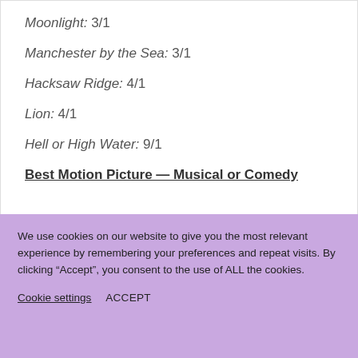Moonlight: 3/1
Manchester by the Sea: 3/1
Hacksaw Ridge: 4/1
Lion: 4/1
Hell or High Water: 9/1
Best Motion Picture — Musical or Comedy
We use cookies on our website to give you the most relevant experience by remembering your preferences and repeat visits. By clicking “Accept”, you consent to the use of ALL the cookies.
Cookie settings   ACCEPT